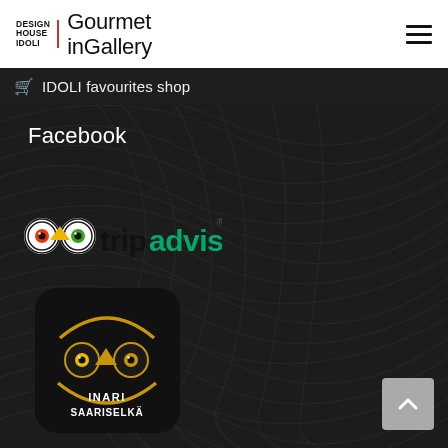[Figure (logo): Design House Idoli Gourmet inGallery logo with red underline separator]
IDOLI favourites shop
Facebook
[Figure (logo): TripAdvisor logo with owl eyes icon and tripadvisor text in black and green]
[Figure (logo): TripAdvisor Inari Saariselka badge - black rounded square with gold owl eyes and text INARI SAARISELKÄ]
[Figure (other): Back to top arrow button, grey rounded square]